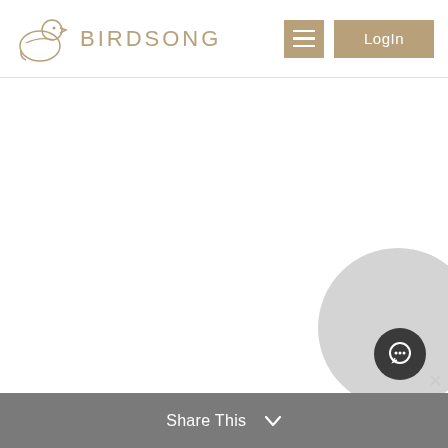BIRDSONG — navigation header with logo, hamburger menu, and Login button
Learn More
[Figure (other): Large white empty content area]
[Figure (other): Gray circle in bottom-right corner with dark chat bubble button and X close button]
Share This